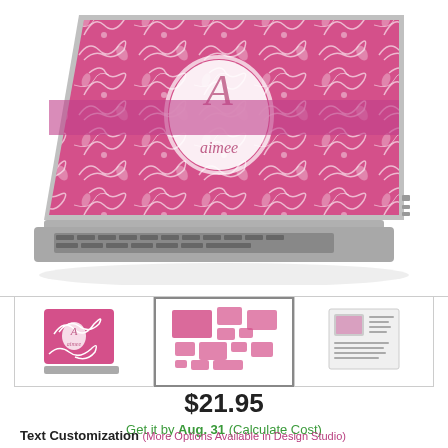[Figure (photo): Laptop with pink floral/botanical swirl design skin decal featuring a decorative initial 'A' and name 'aimee' in a white badge, viewed from back-left angle]
[Figure (photo): Three product thumbnail images: 1) Pink floral laptop skin front view, 2) Multiple product pieces/stickers layout, 3) Installation/application instruction sheet]
$21.95
Get it by Aug. 31 (Calculate Cost)
Text Customization (More Options Available in Design Studio)